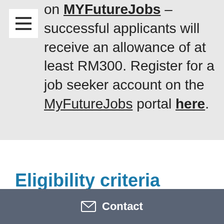on MYFutureJobs – successful applicants will receive an allowance of at least RM300. Register for a job seeker account on the MyFutureJobs portal here.
Eligibility criteria
Contact